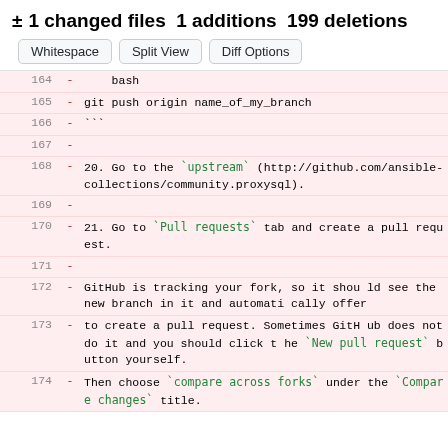± 1 changed files 1 additions 199 deletions
Whitespace | Split View | Diff Options
| line | sign | content |
| --- | --- | --- |
| 164 | - |     bash |
| 165 | - | git push origin name_of_my_branch |
| 166 | - | ``` |
| 167 | - |  |
| 168 | - | 20. Go to the `upstream` (http://github.com/ansible-collections/community.proxysql). |
| 169 | - |  |
| 170 | - | 21. Go to `Pull requests` tab and create a pull request. |
| 171 | - |  |
| 172 | - | GitHub is tracking your fork, so it should see the new branch in it and automatically offer |
| 173 | - | to create a pull request. Sometimes GitHub does not do it and you should click the `New pull request` button yourself. |
| 174 | - | Then choose `compare across forks` under the `Compare changes` title. |